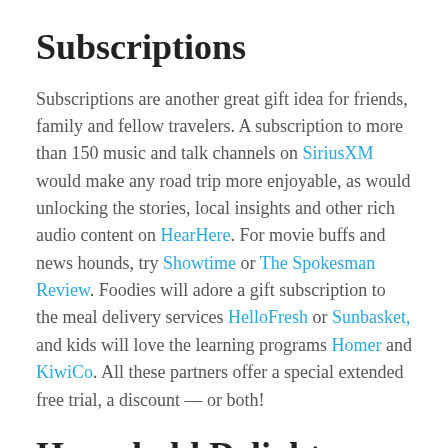Subscriptions
Subscriptions are another great gift idea for friends, family and fellow travelers. A subscription to more than 150 music and talk channels on SiriusXM would make any road trip more enjoyable, as would unlocking the stories, local insights and other rich audio content on HearHere. For movie buffs and news hounds, try Showtime or The Spokesman Review. Foodies will adore a gift subscription to the meal delivery services HelloFresh or Sunbasket, and kids will love the learning programs Homer and KiwiCo. All these partners offer a special extended free trial, a discount — or both!
Household Delights